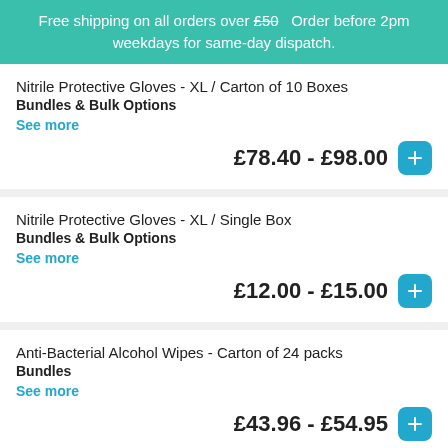Free shipping on all orders over £50   Order before 2pm weekdays for same-day dispatch.
Nitrile Protective Gloves - XL / Carton of 10 Boxes
Bundles & Bulk Options
See more
£78.40 - £98.00
Nitrile Protective Gloves - XL / Single Box
Bundles & Bulk Options
See more
£12.00 - £15.00
Anti-Bacterial Alcohol Wipes - Carton of 24 packs
Bundles
See more
£43.96 - £54.95
Anti-Bacterial Alcohol Wipes - Single pack
Bundles